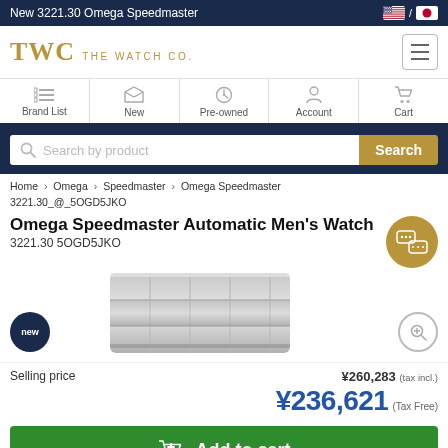New 3221.30 Omega Speedmaster
[Figure (logo): TWC THE WATCH CO. logo in gold/olive color]
Brand List | New | Pre-owned | Account | Cart
Search by product
Home > Omega > Speedmaster > Omega Speedmaster 3221.30_@_5OGD5JKO
Omega Speedmaster Automatic Men's Watch
3221.30 5OGD5JKO
[Figure (photo): Omega Speedmaster watch bracelet/band detail photo, gray metal links. New badge circle dark navy. Zoom button circle.]
Selling price  ¥260,283 (tax incl.)
¥236,621 (Tax Free)
Add to cart